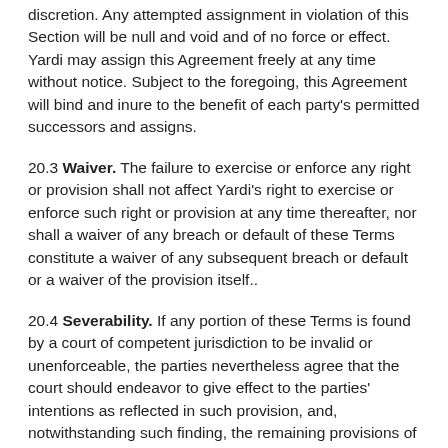discretion. Any attempted assignment in violation of this Section will be null and void and of no force or effect. Yardi may assign this Agreement freely at any time without notice. Subject to the foregoing, this Agreement will bind and inure to the benefit of each party's permitted successors and assigns.
20.3 Waiver. The failure to exercise or enforce any right or provision shall not affect Yardi's right to exercise or enforce such right or provision at any time thereafter, nor shall a waiver of any breach or default of these Terms constitute a waiver of any subsequent breach or default or a waiver of the provision itself..
20.4 Severability. If any portion of these Terms is found by a court of competent jurisdiction to be invalid or unenforceable, the parties nevertheless agree that the court should endeavor to give effect to the parties' intentions as reflected in such provision, and, notwithstanding such finding, the remaining provisions of these Terms shall remain in full force and effect.
20.5 Entire Agreement. These Terms, the terms incorporated herein, and any other terms agreed to in writing by the parties or by way of your use of the Site or the Services shall constitute the entire and exclusive understanding and agreement between you and Yardi regarding this subject matter, and shall supersede any and all prior or contemporaneous representations or